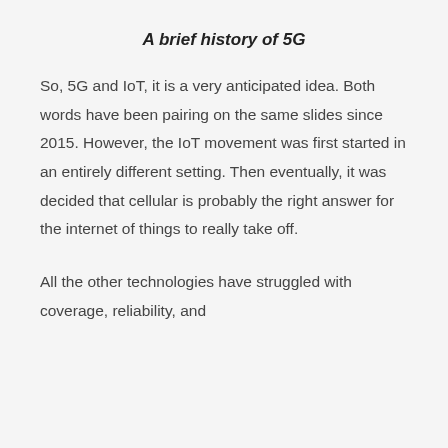A brief history of 5G
So, 5G and IoT, it is a very anticipated idea. Both words have been pairing on the same slides since 2015. However, the IoT movement was first started in an entirely different setting. Then eventually, it was decided that cellular is probably the right answer for the internet of things to really take off.
All the other technologies have struggled with coverage, reliability, and